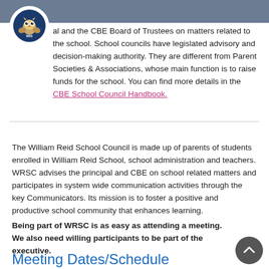WRS logo header bar
al and the CBE Board of Trustees on matters related to the school. School councils have legislated advisory and decision-making authority. They are different from Parent Societies & Associations, whose main function is to raise funds for the school. You can find more details in the CBE School Council Handbook.
The William Reid School Council is made up of parents of students enrolled in William Reid School, school administration and teachers. WRSC advises the principal and CBE on school related matters and participates in system wide communication activities through the key Communicators. Its mission is to foster a positive and productive school community that enhances learning.
Being part of WRSC is as easy as attending a meeting. We also need willing participants to be part of the executive.
Meeting Dates/Schedule